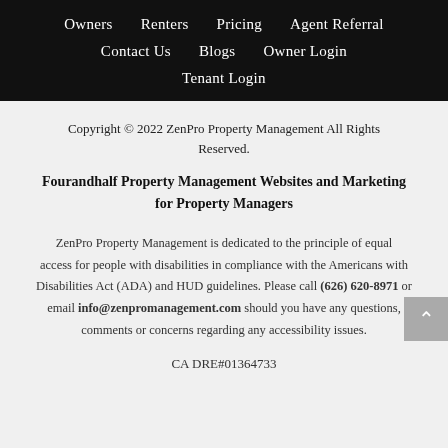Owners   Renters   Pricing   Agent Referral   Contact Us   Blogs   Owner Login   Tenant Login
Copyright © 2022 ZenPro Property Management All Rights Reserved.
Fourandhalf Property Management Websites and Marketing for Property Managers
ZenPro Property Management is dedicated to the principle of equal access for people with disabilities in compliance with the Americans with Disabilities Act (ADA) and HUD guidelines. Please call (626) 620-8971 or email info@zenpromanagement.com should you have any questions, comments or concerns regarding any accessibility issues.
CA DRE#01364733